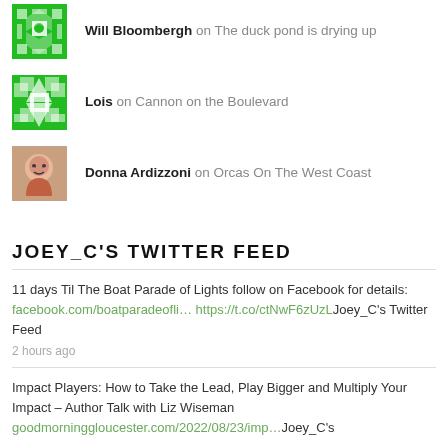Will Bloombergh on The duck pond is drying up
Lois on Cannon on the Boulevard
Donna Ardizzoni on Orcas On The West Coast
JOEY_C'S TWITTER FEED
11 days Til The Boat Parade of Lights follow on Facebook for details: facebook.com/boatparadeofli… https://t.co/ctNwF6zUzL Joey_C's Twitter Feed
2 hours ago
Impact Players: How to Take the Lead, Play Bigger and Multiply Your Impact – Author Talk with Liz Wiseman
goodmorninggloucester.com/2022/08/23/imp… Joey_C's